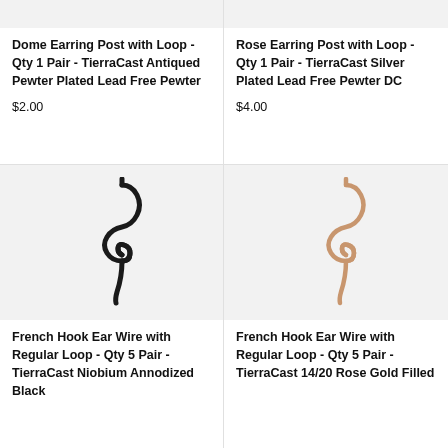[Figure (photo): Top portion of a Dome Earring Post product image, cropped at top]
Dome Earring Post with Loop - Qty 1 Pair - TierraCast Antiqued Pewter Plated Lead Free Pewter
$2.00
[Figure (photo): Top portion of a Rose Earring Post product image, cropped at top]
Rose Earring Post with Loop - Qty 1 Pair - TierraCast Silver Plated Lead Free Pewter DC
$4.00
[Figure (photo): French Hook Ear Wire with black niobium finish on white/light gray background]
French Hook Ear Wire with Regular Loop - Qty 5 Pair - TierraCast Niobium Annodized Black
[Figure (photo): French Hook Ear Wire with 14/20 Rose Gold Filled finish on white/light gray background]
French Hook Ear Wire with Regular Loop - Qty 5 Pair - TierraCast 14/20 Rose Gold Filled